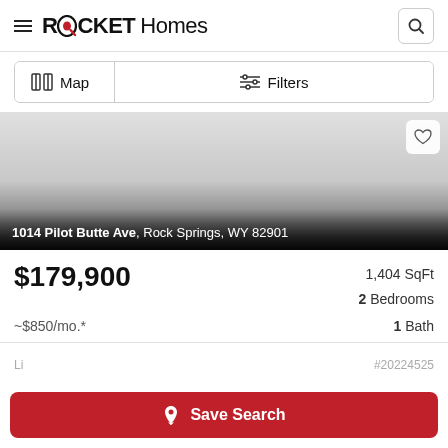ROCKET Homes
Map   Filters
[Figure (photo): Property listing photo with gradient overlay showing address: 1014 Pilot Butte Ave, Rock Springs, WY 82901]
$179,900   1,404 SqFt   2 Bedrooms   ~$850/mo.*   1 Bath
#20224525
Save Search